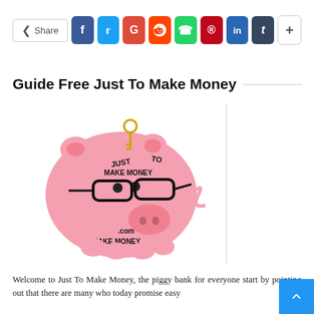[Figure (infographic): Social media share bar with Share button, Facebook (f), Twitter (bird), Google (G), Reddit, WhatsApp, Pinterest, LinkedIn, Tumblr, and plus (+) buttons]
Guide Free Just To Make Money
[Figure (photo): Pink piggy bank wearing glasses with 'JUST TO MAKE MONEY .com MAKE MONEY' text printed on it and a gold key on top. A vertical line divides the image on the right side.]
Welcome to Just To Make Money, the piggy bank for everyone start by pointing out that there are many who today promise easy